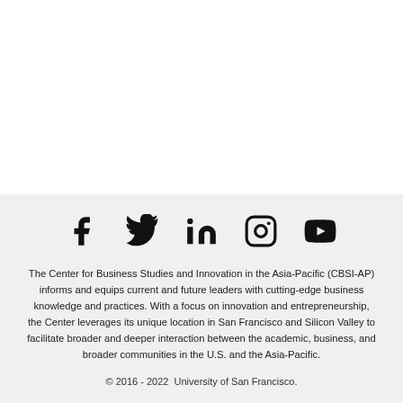[Figure (other): Social media icons: Facebook, Twitter, LinkedIn, Instagram, YouTube]
The Center for Business Studies and Innovation in the Asia-Pacific (CBSI-AP) informs and equips current and future leaders with cutting-edge business knowledge and practices. With a focus on innovation and entrepreneurship, the Center leverages its unique location in San Francisco and Silicon Valley to facilitate broader and deeper interaction between the academic, business, and broader communities in the U.S. and the Asia-Pacific.
© 2016 - 2022  University of San Francisco.